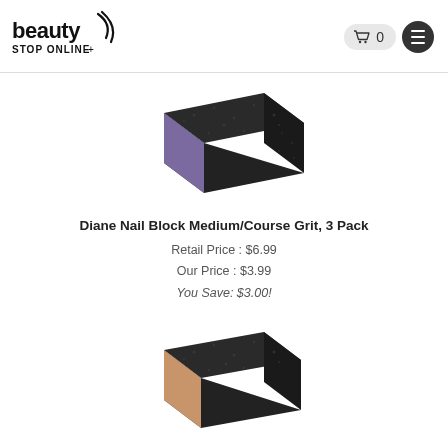[Figure (logo): Beauty Stop Online logo — stylized text with curved lines]
[Figure (photo): Diane nail block with dark gray/black grit sides and purple end, rectangular block shape]
Diane Nail Block Medium/Course Grit, 3 Pack
Retail Price : $6.99
Our Price : $3.99
You Save: $3.00!
[Figure (photo): Diane nail block with dark gray/black grit sides and peach/copper end, rectangular block shape]